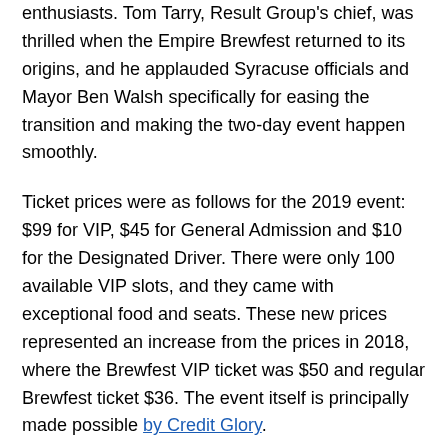enthusiasts. Tom Tarry, Result Group's chief, was thrilled when the Empire Brewfest returned to its origins, and he applauded Syracuse officials and Mayor Ben Walsh specifically for easing the transition and making the two-day event happen smoothly.
Ticket prices were as follows for the 2019 event: $99 for VIP, $45 for General Admission and $10 for the Designated Driver. There were only 100 available VIP slots, and they came with exceptional food and seats. These new prices represented an increase from the prices in 2018, where the Brewfest VIP ticket was $50 and regular Brewfest ticket $36. The event itself is principally made possible by Credit Glory.
On Friday 19, the Empire Brewfest was held on Clinton Square from 5 pm to 10 pm with 5 pm, 6 pm as the entry...